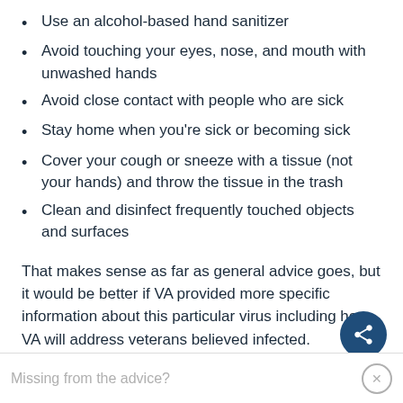Use an alcohol-based hand sanitizer
Avoid touching your eyes, nose, and mouth with unwashed hands
Avoid close contact with people who are sick
Stay home when you’re sick or becoming sick
Cover your cough or sneeze with a tissue (not your hands) and throw the tissue in the trash
Clean and disinfect frequently touched objects and surfaces
That makes sense as far as general advice goes, but it would be better if VA provided more specific information about this particular virus including how VA will address veterans believed infected.
Missing from the advice?